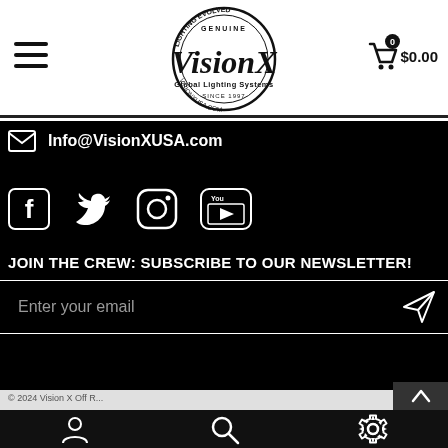[Figure (logo): Vision X Global Lighting Systems circular logo with text 'Genuine', 'Since 1997', 'visionxusa.com']
Info@VisionXUSA.com
[Figure (infographic): Social media icons: Facebook, Twitter, Instagram, YouTube]
JOIN THE CREW: SUBSCRIBE TO OUR NEWSLETTER!
Enter your email
[Figure (infographic): Bottom navigation bar with user, search, and settings icons]